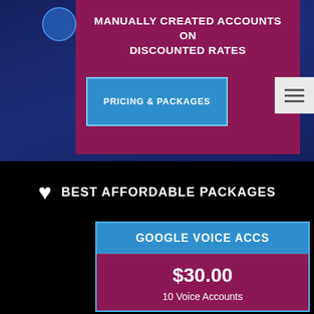MANUALLY CREATED ACCOUNTS ON DISCOUNTED RATES
PRICING & PACKAGES
♥ BEST AFFORDABLE PACKAGES
| GOOGLE VOICE ACCS |
| --- |
| $30.00 |
| 10 Voice Accounts |